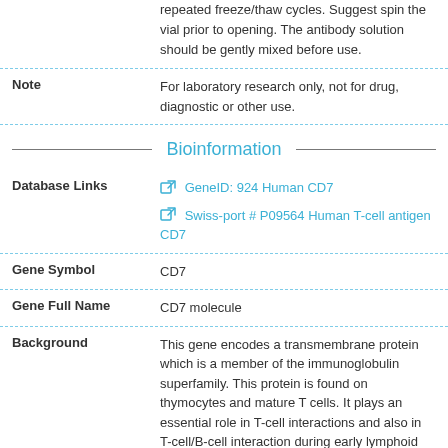repeated freeze/thaw cycles. Suggest spin the vial prior to opening. The antibody solution should be gently mixed before use.
Note	For laboratory research only, not for drug, diagnostic or other use.
Bioinformation
Database Links	GeneID: 924 Human CD7
Swiss-port # P09564 Human T-cell antigen CD7
Gene Symbol	CD7
Gene Full Name	CD7 molecule
Background	This gene encodes a transmembrane protein which is a member of the immunoglobulin superfamily. This protein is found on thymocytes and mature T cells. It plays an essential role in T-cell interactions and also in T-cell/B-cell interaction during early lymphoid development. [provided by RefSeq, Jul 2008]